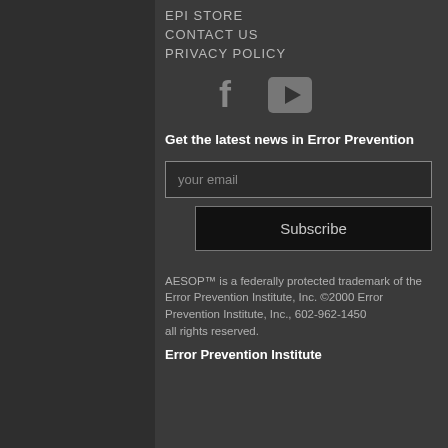EPI STORE
CONTACT US
PRIVACY POLICY
[Figure (illustration): Social media icons: Facebook (f) and YouTube (play button)]
Get the latest news in Error Prevention
your email
Subscribe
AESOP™ is a federally protected trademark of the Error Prevention Institute, Inc. ©2000 Error Prevention Institute, Inc., 602-962-1450
all rights reserved.
Error Prevention Institute